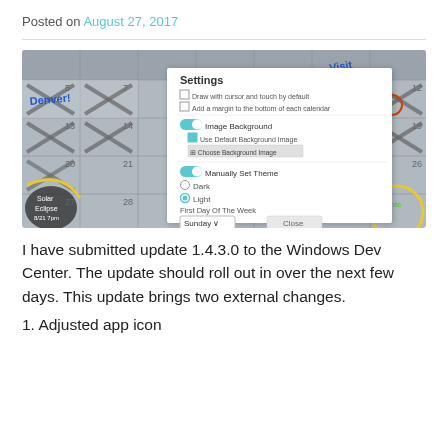Posted on August 27, 2017
[Figure (screenshot): Screenshot of a calendar app showing August 2017 with a Settings dialog open. The settings panel includes options: 'Draw with cursor and touch by default', 'Add a margin to the bottom of each calendar', Image Background toggle (on) with 'Use Default Background Image' checkbox and 'Choose Background Image' button, Manually Set Theme toggle (on) with Dark/Light radio buttons (Light selected), First Day Of The Week dropdown set to Sunday, and a Close button. The calendar background shows dates with X marks, handwritten notes including 'Denver!', 'Visit', 'Solar Eclipse', and 'Panic' circled in yellow.]
I have submitted update 1.4.3.0 to the Windows Dev Center. The update should roll out in over the next few days. This update brings two external changes.
1. Adjusted app icon